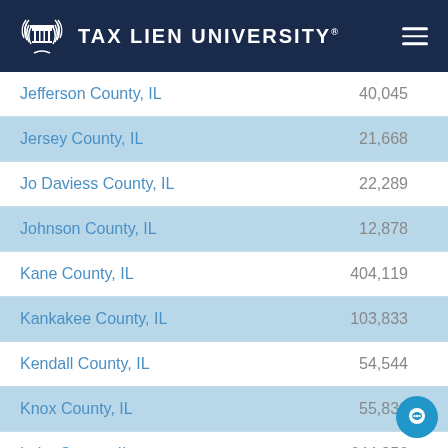TAX LIEN UNIVERSITY
| County | Population |
| --- | --- |
| Jefferson County, IL | 40,045 |
| Jersey County, IL | 21,668 |
| Jo Daviess County, IL | 22,289 |
| Johnson County, IL | 12,878 |
| Kane County, IL | 404,119 |
| Kankakee County, IL | 103,833 |
| Kendall County, IL | 54,544 |
| Knox County, IL | 55,836 |
| Lake County, IL | 644,356 |
| Lasalle County, IL | 111,509 |